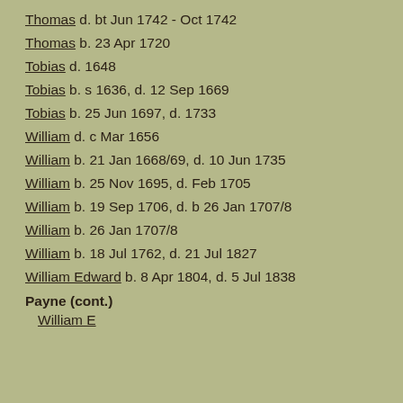Thomas  d. bt Jun 1742 - Oct 1742
Thomas  b. 23 Apr 1720
Tobias  d. 1648
Tobias  b. s 1636, d. 12 Sep 1669
Tobias  b. 25 Jun 1697, d. 1733
William  d. c Mar 1656
William  b. 21 Jan 1668/69, d. 10 Jun 1735
William  b. 25 Nov 1695, d. Feb 1705
William  b. 19 Sep 1706, d. b 26 Jan 1707/8
William  b. 26 Jan 1707/8
William  b. 18 Jul 1762, d. 21 Jul 1827
William Edward  b. 8 Apr 1804, d. 5 Jul 1838
Payne (cont.)
William E